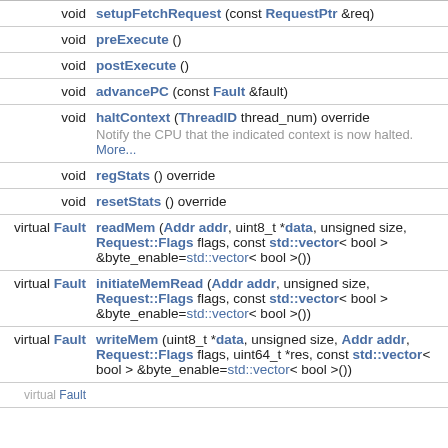| modifier | signature |
| --- | --- |
| void | setupFetchRequest (const RequestPtr &req) |
| void | preExecute () |
| void | postExecute () |
| void | advancePC (const Fault &fault) |
| void | haltContext (ThreadID thread_num) override — Notify the CPU that the indicated context is now halted. More... |
| void | regStats () override |
| void | resetStats () override |
| virtual Fault | readMem (Addr addr, uint8_t *data, unsigned size, Request::Flags flags, const std::vector< bool > &byte_enable=std::vector< bool >()) |
| virtual Fault | initiateMemRead (Addr addr, unsigned size, Request::Flags flags, const std::vector< bool > &byte_enable=std::vector< bool >()) |
| virtual Fault | writeMem (uint8_t *data, unsigned size, Addr addr, Request::Flags flags, uint64_t *res, const std::vector< bool > &byte_enable=std::vector< bool >()) |